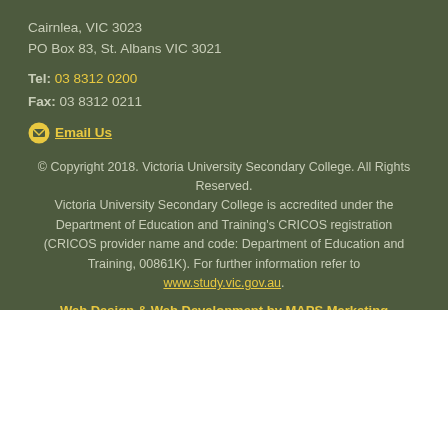Cairnlea, VIC 3023
PO Box 83, St. Albans VIC 3021
Tel: 03 8312 0200
Fax: 03 8312 0211
✉ Email Us
© Copyright 2018. Victoria University Secondary College. All Rights Reserved. Victoria University Secondary College is accredited under the Department of Education and Training's CRICOS registration (CRICOS provider name and code: Department of Education and Training, 00861K). For further information refer to www.study.vic.gov.au.
Web Design & Web Development by MAPS Marketing